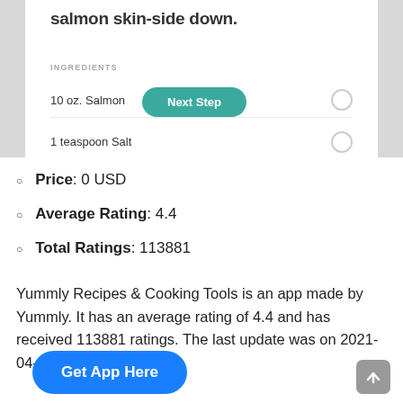[Figure (screenshot): Screenshot of Yummly recipe app showing ingredients list with '10 oz. Salmon' and '1 teaspoon Salt', a teal 'Next Step' button, and an INGREDIENTS section header.]
Price: 0 USD
Average Rating: 4.4
Total Ratings: 113881
Yummly Recipes & Cooking Tools is an app made by Yummly. It has an average rating of 4.4 and has received 113881 ratings. The last update was on 2021-04-08T21:39:44.000Z.